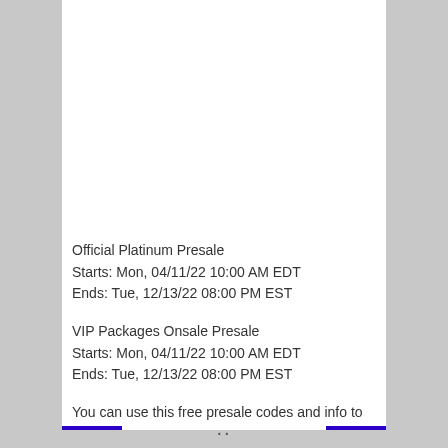Official Platinum Presale
Starts: Mon, 04/11/22 10:00 AM EDT
Ends: Tue, 12/13/22 08:00 PM EST
VIP Packages Onsale Presale
Starts: Mon, 04/11/22 10:00 AM EDT
Ends: Tue, 12/13/22 08:00 PM EST
You can use this free presale codes and info to